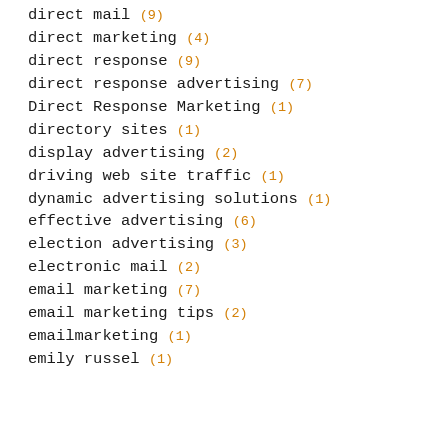direct mail (9)
direct marketing (4)
direct response (9)
direct response advertising (7)
Direct Response Marketing (1)
directory sites (1)
display advertising (2)
driving web site traffic (1)
dynamic advertising solutions (1)
effective advertising (6)
election advertising (3)
electronic mail (2)
email marketing (7)
email marketing tips (2)
emailmarketing (1)
emily russel (1)